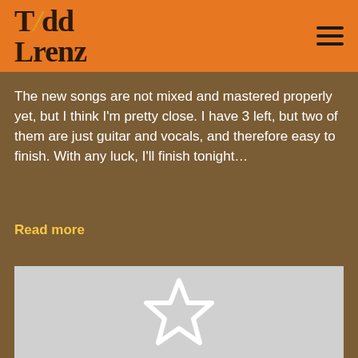Todd Lorenz
The new songs are not mixed and mastered properly yet, but I think I'm pretty close.  I have 3 left, but two of them are just guitar and vocals, and therefore easy to finish.  With any luck, I'll finish tonight…
Read more
[Figure (illustration): Gray placeholder image with a white outlined star icon in the center]